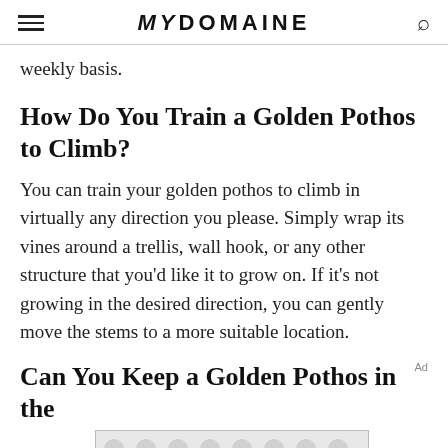MYDOMAINE
weekly basis.
How Do You Train a Golden Pothos to Climb?
You can train your golden pothos to climb in virtually any direction you please. Simply wrap its vines around a trellis, wall hook, or any other structure that you'd like it to grow on. If it's not growing in the desired direction, you can gently move the stems to a more suitable location.
Can You Keep a Golden Pothos in the
[Figure (other): Advertisement banner with polka-dot pattern background]